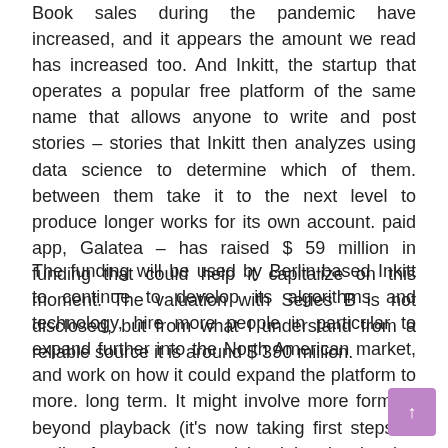Book sales during the pandemic have increased, and it appears the amount we read has increased too. And Inkitt, the startup that operates a popular free platform of the same name that allows anyone to write and post stories – stories that Inkitt then analyzes using data science to determine which of them. between them take it to the next level to produce longer works for its own account. paid app, Galatea – has raised $ 59 million in funding that could help it capitalize on this moment. The valuation with Series B is not disclosed, but from what I understand from a reliable source it is around $ 390 million.
The funding will be used by Berlin-based Inkitt to continue to develop its algorithms and technology, hire more people in particular to expand further into the North American market, and work on how it could expand the platform to more. long term. It might involve more formats beyond playback (it's now taking first steps in audio, for example), and it might also involve creating APIs and SDKs so that other parties, such as other publishers, can use its tools to also test shorter works to see what might work as books.